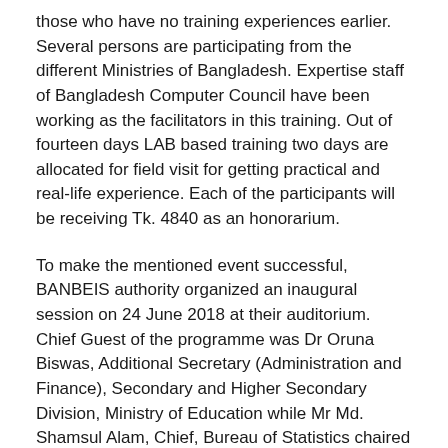those who have no training experiences earlier. Several persons are participating from the different Ministries of Bangladesh. Expertise staff of Bangladesh Computer Council have been working as the facilitators in this training. Out of fourteen days LAB based training two days are allocated for field visit for getting practical and real-life experience. Each of the participants will be receiving Tk. 4840 as an honorarium.
To make the mentioned event successful, BANBEIS authority organized an inaugural session on 24 June 2018 at their auditorium. Chief Guest of the programme was Dr Oruna Biswas, Additional Secretary (Administration and Finance), Secondary and Higher Secondary Division, Ministry of Education while Mr Md. Shamsul Alam, Chief, Bureau of Statistics chaired the session.
Mr Md. Abu Taher Khan, Sr. Systems Analyst has been working as training coordinator.